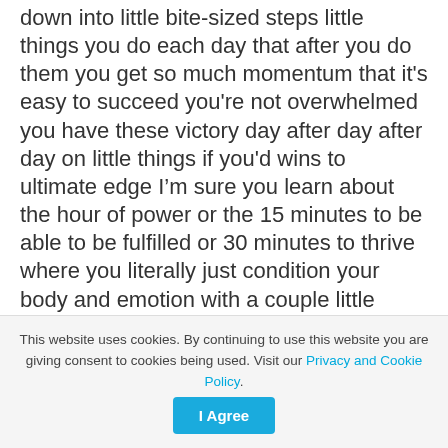down into little bite-sized steps little things you do each day that after you do them you get so much momentum that it's easy to succeed you're not overwhelmed you have these victory day after day after day on little things if you'd wins to ultimate edge I'm sure you learn about the hour of power or the 15 minutes to be able to be fulfilled or 30 minutes to thrive where you literally just condition your body and emotion with a couple little rituals so it doesn't matter what's going on in your world you feel that strength and it's
This website uses cookies. By continuing to use this website you are giving consent to cookies being used. Visit our Privacy and Cookie Policy.